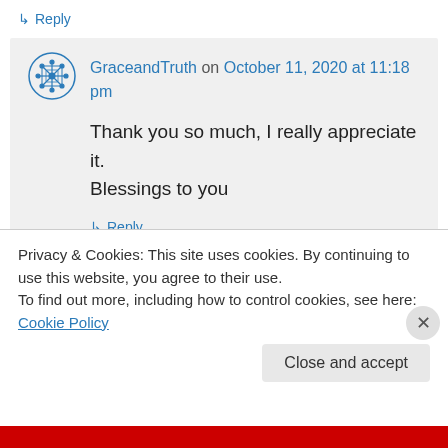↳ Reply
GraceandTruth on October 11, 2020 at 11:18 pm
Thank you so much, I really appreciate it. Blessings to you
↳ Reply
Privacy & Cookies: This site uses cookies. By continuing to use this website, you agree to their use.
To find out more, including how to control cookies, see here: Cookie Policy
Close and accept